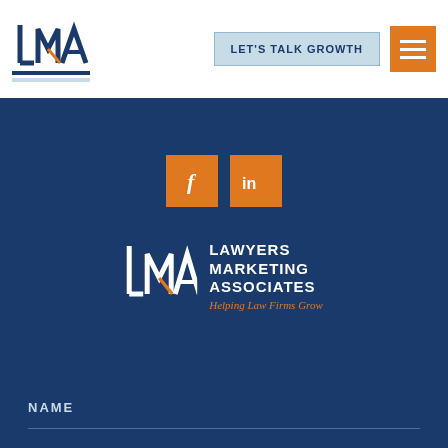[Figure (logo): LMA logo with stylized letters L M A and two blue underlines]
LET'S TALK GROWTH
[Figure (logo): Hamburger menu icon (three horizontal white lines on orange background)]
[Figure (logo): Facebook icon (orange square with white f)]
[Figure (logo): LinkedIn icon (orange square with white in)]
[Figure (logo): Lawyers Marketing Associates logo with LMA monogram and text: LAWYERS MARKETING ASSOCIATES Helping Law Firms Grow]
NAME
PHONE